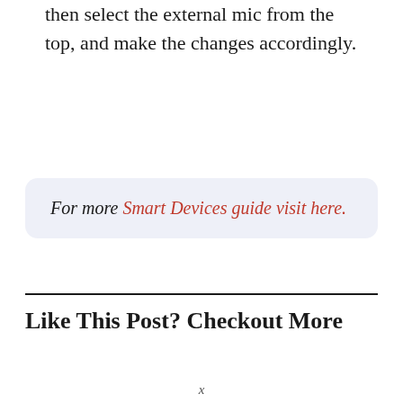then select the external mic from the top, and make the changes accordingly.
For more Smart Devices guide visit here.
Like This Post? Checkout More
x